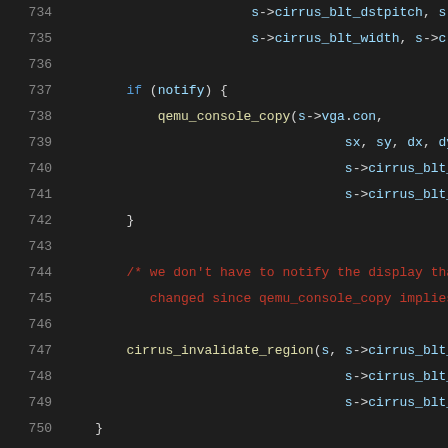[Figure (screenshot): Source code editor showing C code lines 734-754, dark background IDE theme with syntax highlighting. Lines show cirrus VGA blit functions including cirrus_bitblt_videotovideo_copy.]